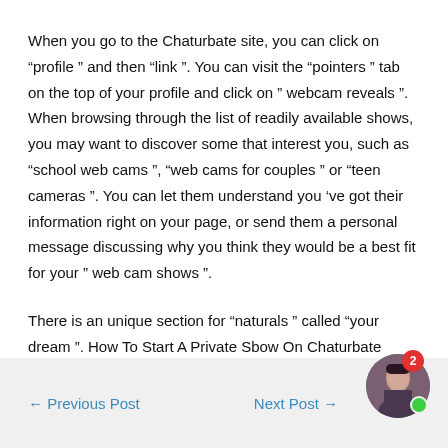When you go to the Chaturbate site, you can click on “profile ” and then “link ”. You can visit the “pointers ” tab on the top of your profile and click on ” webcam reveals ”. When browsing through the list of readily available shows, you may want to discover some that interest you, such as “school web cams ”, “web cams for couples ” or “teen cameras ”. You can let them understand you ’ve got their information right on your page, or send them a personal message discussing why you think they would be a best fit for your ” web cam shows ”.
There is an unique section for “naturals ” called “your dream ”. How To Start A Private Sbow On Chaturbate
← Previous Post    Next Post →